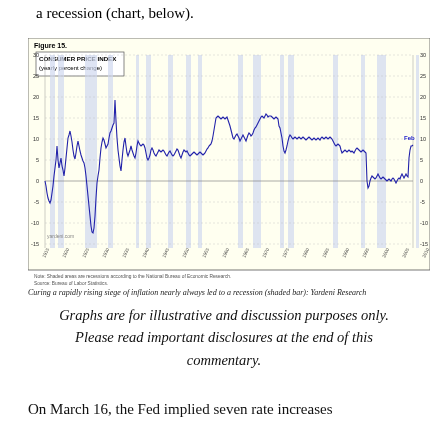a recession (chart, below).
[Figure (continuous-plot): Line chart showing US Consumer Price Index yearly percent change from approximately 1915 to 2022. Y-axis ranges from -15 to 30. Shaded vertical bars indicate recessions per NBER. The line shows large swings in the early 20th century, peaks around 20% in the 1940s and 1970s, and a recent uptick to around 7-8% labeled 'Feb'. Note: Shaded areas are recessions according to the National Bureau of Economic Research. Source: Bureau of Labor Statistics.]
Curing a rapidly rising siege of inflation nearly always led to a recession (shaded bar): Yardeni Research
Graphs are for illustrative and discussion purposes only. Please read important disclosures at the end of this commentary.
On March 16, the Fed implied seven rate increases